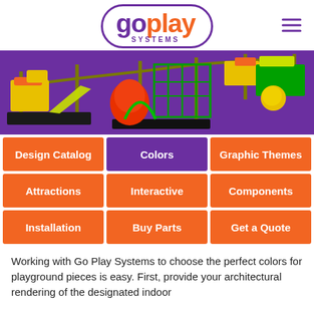[Figure (logo): Go Play Systems logo: purple rounded rectangle border, 'go' in purple bold text, 'play' in orange bold text, 'SYSTEMS' in small purple caps below]
[Figure (photo): 3D rendering of a colorful indoor playground structure with green, yellow, orange, and red components on a purple background]
Design Catalog
Colors
Graphic Themes
Attractions
Interactive
Components
Installation
Buy Parts
Get a Quote
Working with Go Play Systems to choose the perfect colors for playground pieces is easy. First, provide your architectural rendering of the designated indoor